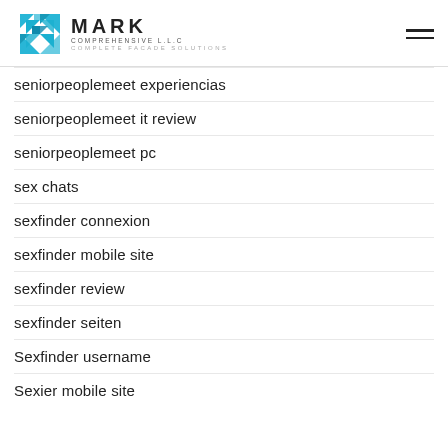[Figure (logo): Mark Comprehensive LLC logo with geometric blue diamond/snowflake icon and text 'MARK COMPREHENSIVE L.L.C COMPLETE FACADE SOLUTIONS']
seniorpeoplemeet experiencias
seniorpeoplemeet it review
seniorpeoplemeet pc
sex chats
sexfinder connexion
sexfinder mobile site
sexfinder review
sexfinder seiten
Sexfinder username
Sexier mobile site